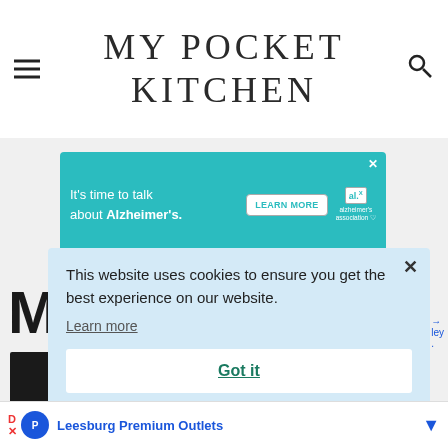MY POCKET KITCHEN
[Figure (screenshot): Advertisement banner for Alzheimer's Association: teal background with text 'It's time to talk about Alzheimer's.' and a LEARN MORE button, with the Alzheimer's Association logo on the right and an X close button.]
This website uses cookies to ensure you get the best experience on our website.
Learn more
Got it
Leesburg Premium Outlets